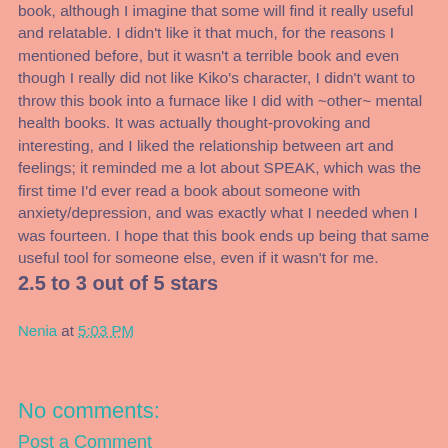book, although I imagine that some will find it really useful and relatable. I didn't like it that much, for the reasons I mentioned before, but it wasn't a terrible book and even though I really did not like Kiko's character, I didn't want to throw this book into a furnace like I did with ~other~ mental health books. It was actually thought-provoking and interesting, and I liked the relationship between art and feelings; it reminded me a lot about SPEAK, which was the first time I'd ever read a book about someone with anxiety/depression, and was exactly what I needed when I was fourteen. I hope that this book ends up being that same useful tool for someone else, even if it wasn't for me.
2.5 to 3 out of 5 stars
Nenia at 5:03 PM
Share
No comments:
Post a Comment